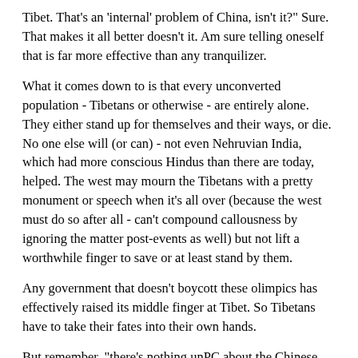Tibet. That's an 'internal' problem of China, isn't it?" Sure. That makes it all better doesn't it. Am sure telling oneself that is far more effective than any tranquilizer.
What it comes down to is that every unconverted population - Tibetans or otherwise - are entirely alone. They either stand up for themselves and their ways, or die. No one else will (or can) - not even Nehruvian India, which had more conscious Hindus than there are today, helped. The west may mourn the Tibetans with a pretty monument or speech when it's all over (because the west must do so after all - can't compound callousness by ignoring the matter post-events as well) but not lift a worthwhile finger to save or at least stand by them.
Any government that doesn't boycott these olimpics has effectively raised its middle finger at Tibet. So Tibetans have to take their fates into their own hands.
But remember, "there's nothing unPC about the Chinese olimpics. We may watch in complete security of good conscience. Tibet and the coming olimpics are so obviously unrelated. Oh, well, if we must, we might choose to issue a condemnation after the fun of the games is over." Just like so many went to the nazi German olimpics too. (Oh that's right, back then olimpics was used as dawaganda for a murderous totalitarian nation as well. My, how history repeats itself within short spaces of time.) Never